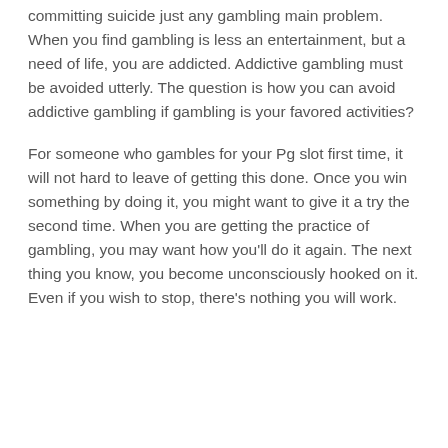committing suicide just any gambling main problem. When you find gambling is less an entertainment, but a need of life, you are addicted. Addictive gambling must be avoided utterly. The question is how you can avoid addictive gambling if gambling is your favored activities?
For someone who gambles for your Pg slot first time, it will not hard to leave of getting this done. Once you win something by doing it, you might want to give it a try the second time. When you are getting the practice of gambling, you may want how you'll do it again. The next thing you know, you become unconsciously hooked on it. Even if you wish to stop, there's nothing you will work.